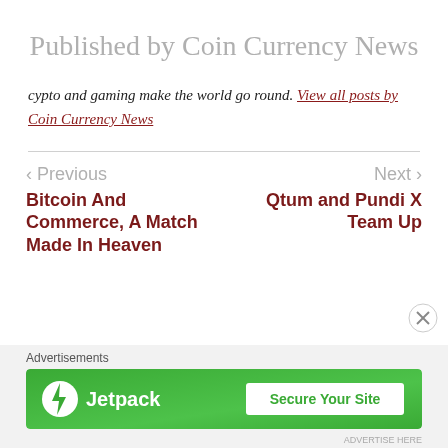Published by Coin Currency News
cypto and gaming make the world go round. View all posts by Coin Currency News
< Previous | Next >
Bitcoin And Commerce, A Match Made In Heaven
Qtum and Pundi X Team Up
Advertisements
[Figure (screenshot): Jetpack advertisement banner with green background showing Jetpack logo and 'Secure Your Site' button]